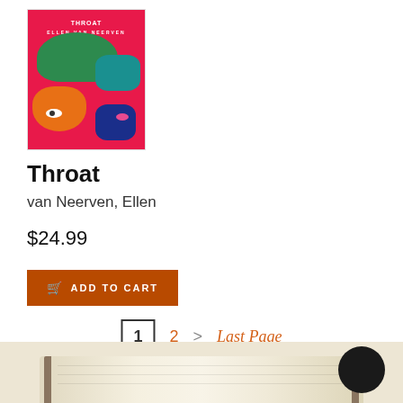[Figure (illustration): Book cover for 'Throat' by Ellen van Neerven — colorful abstract cover with face shapes in pink/red, green, teal, orange, blue on red background]
Throat
van Neerven, Ellen
$24.99
ADD TO CART
1   2   >   Last Page
Page 1 of 2
[Figure (photo): Bottom portion of an open book photographed from above, with a dark circular object visible at right edge]